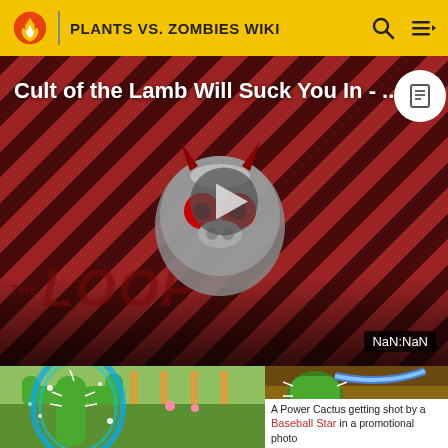PLANTS VS. ZOMBIES WIKI
Cult of the Lamb Will Suck You In - ...
[Figure (screenshot): Video thumbnail showing 'The Loop' branding with a cartoon character mascot on a diagonal red and dark stripe background, with a play button overlay and NaN:NaN timestamp]
[Figure (screenshot): Image of a glowing blue Power Cactus plant in a garden setting in Plants vs. Zombies]
[Figure (photo): Promotional photo of a Power Cactus being shot by a Baseball Star]
A Power Cactus getting shot by a Baseball Star in a promotional photo